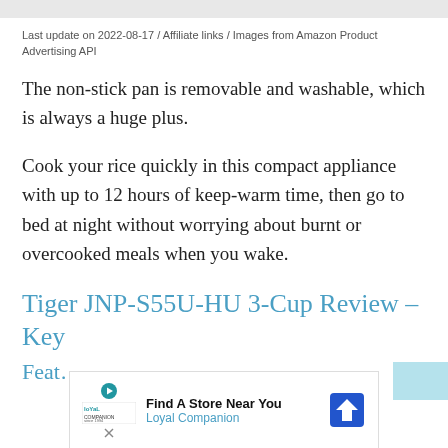Last update on 2022-08-17 / Affiliate links / Images from Amazon Product Advertising API
The non-stick pan is removable and washable, which is always a huge plus.
Cook your rice quickly in this compact appliance with up to 12 hours of keep-warm time, then go to bed at night without worrying about burnt or overcooked meals when you wake.
Tiger JNP-S55U-HU 3-Cup Review – Key Feat…
[Figure (other): Advertisement banner for Loyal Companion pet store with logo, 'Find A Store Near You' text, and a blue direction/map icon arrow]